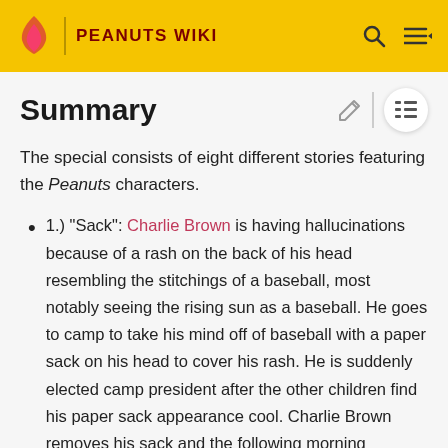PEANUTS WIKI
Summary
The special consists of eight different stories featuring the Peanuts characters.
1.) "Sack": Charlie Brown is having hallucinations because of a rash on the back of his head resembling the stitchings of a baseball, most notably seeing the rising sun as a baseball. He goes to camp to take his mind off of baseball with a paper sack on his head to cover his rash. He is suddenly elected camp president after the other children find his paper sack appearance cool. Charlie Brown removes his sack and the following morning watches the sun rise, but fears